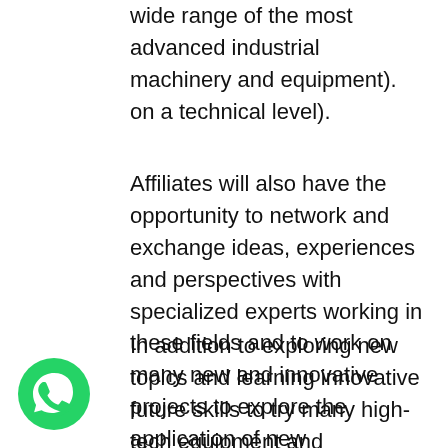wide range of the most advanced industrial machinery and equipment). on a technical level).
Affiliates will also have the opportunity to network and exchange ideas, experiences and perspectives with specialized experts working in these fields and to work on many new and innovative projects to explore the application of new technologies.
In addition to exploring new topics and learning innovative future skills to try many high-tech equipment and workshops specialized in design processes to form innovative products, and developing skills in several areas: laser cutting and robotics, self-driving vehicles, green technology, and the affiliates will be trained to work in teams using Creativity in exploring and solving
[Figure (logo): WhatsApp logo icon — green circle with white phone handset]